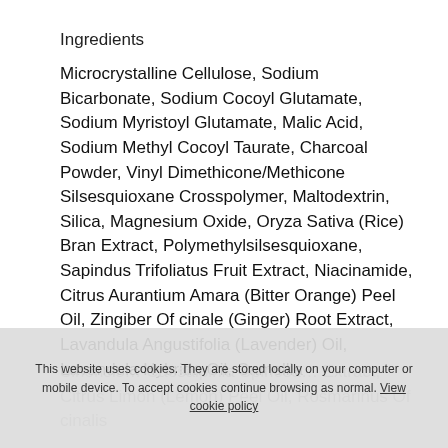Ingredients
Microcrystalline Cellulose, Sodium Bicarbonate, Sodium Cocoyl Glutamate, Sodium Myristoyl Glutamate, Malic Acid, Sodium Methyl Cocoyl Taurate, Charcoal Powder, Vinyl Dimethicone/Methicone Silsesquioxane Crosspolymer, Maltodextrin, Silica, Magnesium Oxide, Oryza Sativa (Rice) Bran Extract, Polymethylsilsesquioxane, Sapindus Trifoliatus Fruit Extract, Niacinamide, Citrus Aurantium Amara (Bitter Orange) Peel Oil, Zingiber Of cinale (Ginger) Root Extract, Lavandula Angustifolia (Lavender) Oil, Lavandula Hybrida Oil, Camellia
Sinensis... Caesalpinia Spinosa... Citrus Limon (Lemon) Peel Oil, Rosmarinus Officinalis
This website uses cookies. They are stored locally on your computer or mobile device. To accept cookies continue browsing as normal. View cookie policy